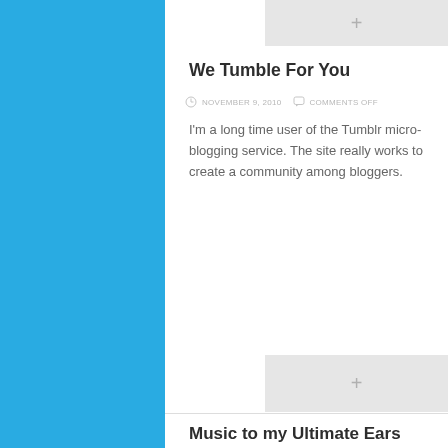We Tumble For You
NOVEMBER 9, 2010   COMMENTS OFF
I'm a long time user of the Tumblr micro-blogging service. The site really works to create a community among bloggers.
Music to my Ultimate Ears
NOVEMBER 8, 2010   COMMENTS OFF
One of the less talked about features of Logitech Revue is its music offering. I'm a huge music fan, and
Night of the Living Nerds: Top 5 Geeky Costumes
NOVEMBER 8, 2010   1 COMMENT